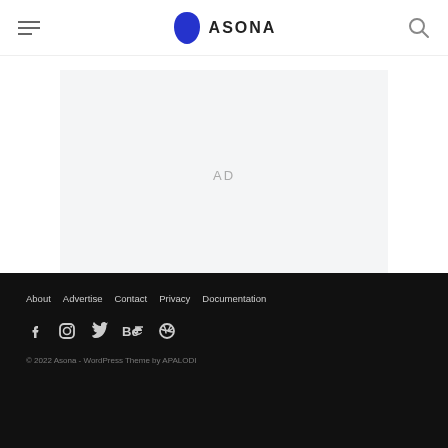ASONA
[Figure (other): Advertisement placeholder block with light gray background and 'AD' text label]
About  Advertise  Contact  Privacy  Documentation
© 2022 Asona - WordPress Theme by APALODI